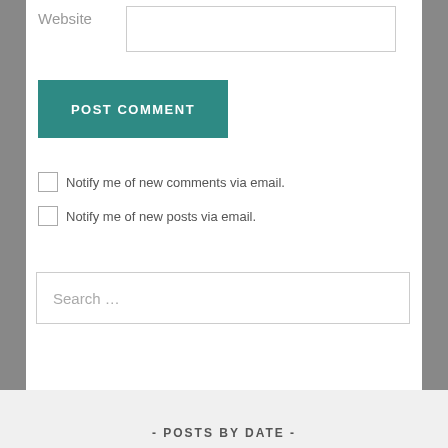Website
POST COMMENT
Notify me of new comments via email.
Notify me of new posts via email.
Search …
- POSTS BY DATE -